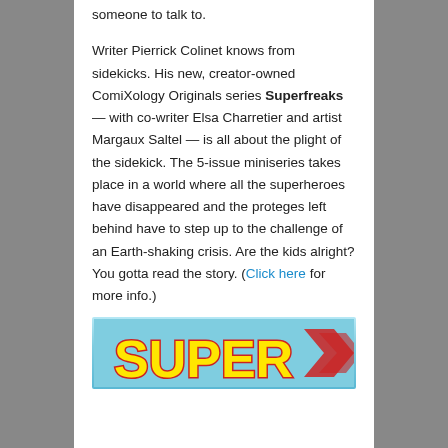someone to talk to.
Writer Pierrick Colinet knows from sidekicks. His new, creator-owned ComiXology Originals series Superfreaks — with co-writer Elsa Charretier and artist Margaux Saltel — is all about the plight of the sidekick. The 5-issue miniseries takes place in a world where all the superheroes have disappeared and the proteges left behind have to step up to the challenge of an Earth-shaking crisis. Are the kids alright? You gotta read the story. (Click here for more info.)
[Figure (illustration): Bottom portion of a comic book cover showing the word SUPER in large yellow letters with red outline on a colorful background]